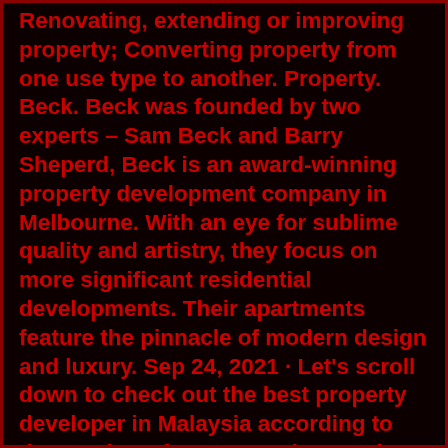Renovating, extending or improving property; Converting property from one use type to another. Property. Beck. Beck was founded by two experts – Sam Beck and Barry Sheperd, Beck is an award-winning property development company in Melbourne. With an eye for sublime quality and artistry, they focus on more significant residential developments. Their apartments feature the pinnacle of modern design and luxury. Sep 24, 2021 · Let's scroll down to check out the best property developer in Malaysia according to the number of votes cast by members of the public. 1. CPI Land Sdn Bhd. Achievement/ Contribution/ Innovation: CPI Land focuses rest firmly on crafting eco-friendly lifestyles by planning out the entire living experience of the potential customers.. . Find company research, competitor information, contact details & financial data for Mirae Real Estate Agent Office of Incheon, Incheon. Get the latest business insights from Dun & Bradstreet. A commercial piece of land is a unique investment and requires a special buyer. A land developer who has the